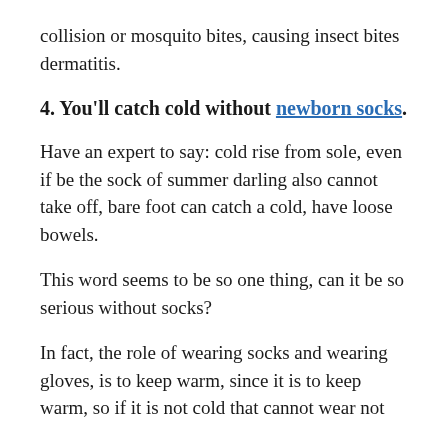collision or mosquito bites, causing insect bites dermatitis.
4. You'll catch cold without newborn socks.
Have an expert to say: cold rise from sole, even if be the sock of summer darling also cannot take off, bare foot can catch a cold, have loose bowels.
This word seems to be so one thing, can it be so serious without socks?
In fact, the role of wearing socks and wearing gloves, is to keep warm, since it is to keep warm, so if it is not cold that cannot wear not